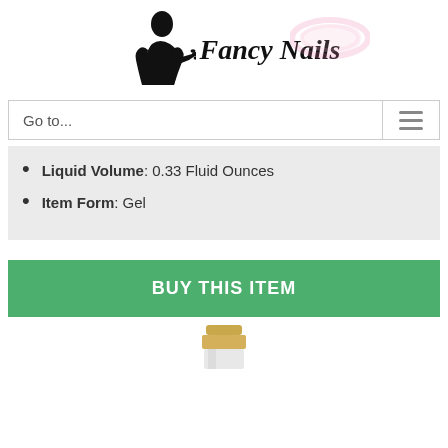[Figure (logo): Fancy Nails logo with woman silhouette and pink swirl text]
Go to...
Liquid Volume: 0.33 Fluid Ounces
Item Form: Gel
BUY THIS ITEM
[Figure (photo): Bottom portion of a product bottle with gold cap]